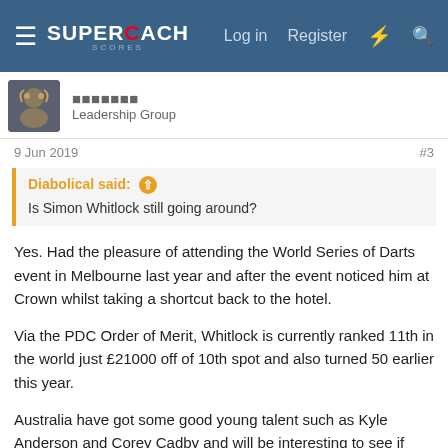SuperCoach Scores — Log in  Register
Leadership Group
9 Jun 2019   #3
Diabolical said: ↑
Is Simon Whitlock still going around?
Yes. Had the pleasure of attending the World Series of Darts event in Melbourne last year and after the event noticed him at Crown whilst taking a shortcut back to the hotel.
Via the PDC Order of Merit, Whitlock is currently ranked 11th in the world just £21000 off of 10th spot and also turned 50 earlier this year.
Australia have got some good young talent such as Kyle Anderson and Corey Cadby and will be interesting to see if they can hit the heights Whitlock has achieved.